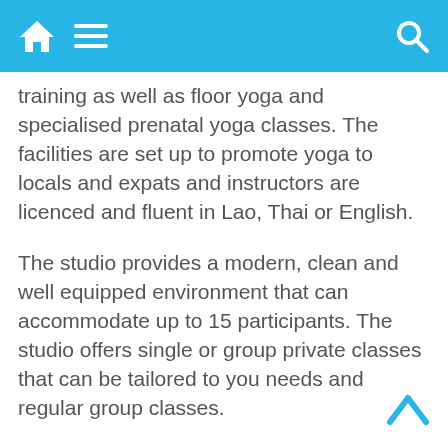navigation bar with home, menu, and search icons
training as well as floor yoga and specialised prenatal yoga classes. The facilities are set up to promote yoga to locals and expats and instructors are licenced and fluent in Lao, Thai or English.
The studio provides a modern, clean and well equipped environment that can accommodate up to 15 participants. The studio offers single or group private classes that can be tailored to you needs and regular group classes.
Free meditation classes and workshops are also offered. For more information, check out the website, or send an email to the Yoga Lao Aerial Circus Studio.